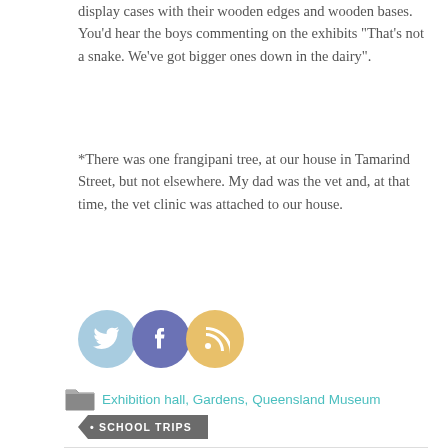display cases with their wooden edges and wooden bases. You'd hear the boys commenting on the exhibits "That's not a snake. We've got bigger ones down in the dairy".
*There was one frangipani tree, at our house in Tamarind Street, but not elsewhere. My dad was the vet and, at that time, the vet clinic was attached to our house.
[Figure (illustration): Three social media icons: Twitter (blue bird), Facebook (blue f), RSS (orange wifi symbol)]
Exhibition hall, Gardens, Queensland Museum
• SCHOOL TRIPS
PREVIOUS POST
Reptiles